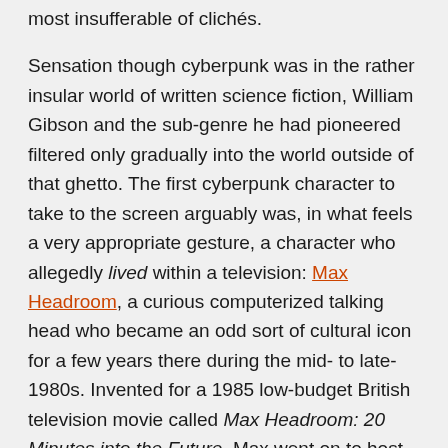most insufferable of clichés.
Sensation though cyberpunk was in the rather insular world of written science fiction, William Gibson and the sub-genre he had pioneered filtered only gradually into the world outside of that ghetto. The first cyberpunk character to take to the screen arguably was, in what feels a very appropriate gesture, a character who allegedly lived within a television: Max Headroom, a curious computerized talking head who became an odd sort of cultural icon for a few years there during the mid- to late-1980s. Invented for a 1985 low-budget British television movie called Max Headroom: 20 Minutes into the Future, Max went on to host his own talk show on British television, to become an international spokesman for the ill-fated New Coke, and finally to star in an American dramatic series which managed to air 14 episodes on ABC during 1987 and 1988. While they lacked anything precisely equivalent to